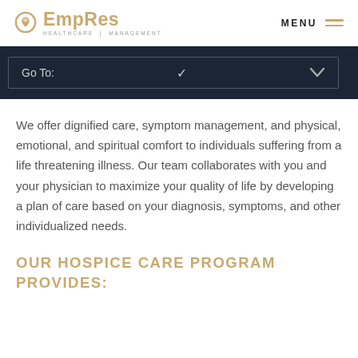EmpRes Healthcare Management — MENU
Go To:
We offer dignified care, symptom management, and physical, emotional, and spiritual comfort to individuals suffering from a life threatening illness. Our team collaborates with you and your physician to maximize your quality of life by developing a plan of care based on your diagnosis, symptoms, and other individualized needs.
OUR HOSPICE CARE PROGRAM PROVIDES: